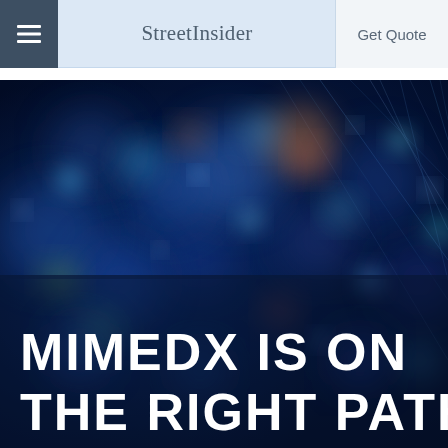StreetInsider | Get Quote
[Figure (photo): Abstract dark blue background with bokeh light effects — colorful blurred circles (blue, teal, green, orange, red) and diagonal streaks of light against a deep blue textured surface. White bold text overlay reads: MIMEDX IS ON THE RIGHT PATH]
MIMEDX IS ON THE RIGHT PATH